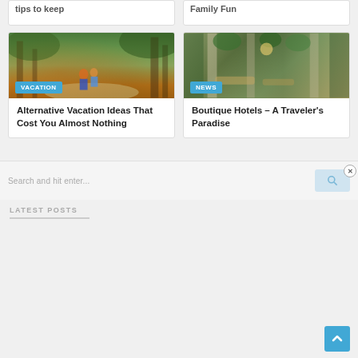tips to keep
Family Fun
[Figure (photo): Two people on a path through green trees with sunlight filtering through]
VACATION
Alternative Vacation Ideas That Cost You Almost Nothing
[Figure (photo): Boutique hotel lobby with hanging plants and green living walls]
NEWS
Boutique Hotels – A Traveler's Paradise
Search and hit enter...
LATEST POSTS